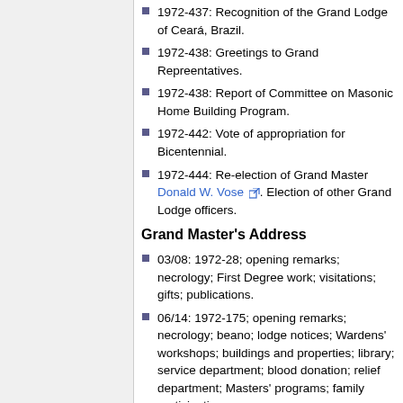1972-437: Recognition of the Grand Lodge of Ceará, Brazil.
1972-438: Greetings to Grand Repreentatives.
1972-438: Report of Committee on Masonic Home Building Program.
1972-442: Vote of appropriation for Bicentennial.
1972-444: Re-election of Grand Master Donald W. Vose. Election of other Grand Lodge officers.
Grand Master's Address
03/08: 1972-28; opening remarks; necrology; First Degree work; visitations; gifts; publications.
06/14: 1972-175; opening remarks; necrology; beano; lodge notices; Wardens' workshops; buildings and properties; library; service department; blood donation; relief department; Masters' programs; family participation.
09/13: 1972-252; opening remarks; necrology; Lodge officers; Templo...